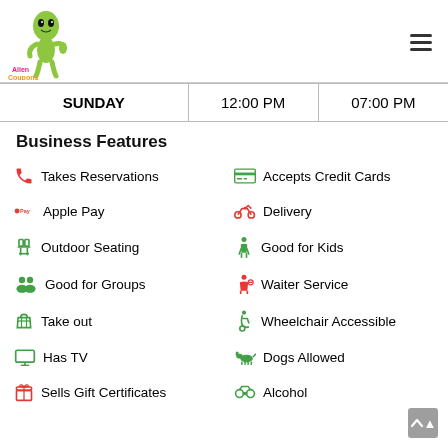Alien Coupons logo and navigation
|  | Open | Close |
| --- | --- | --- |
| SUNDAY | 12:00 PM | 07:00 PM |
Business Features
Takes Reservations
Accepts Credit Cards
Apple Pay
Delivery
Outdoor Seating
Good for Kids
Good for Groups
Waiter Service
Take out
Wheelchair Accessible
Has TV
Dogs Allowed
Sells Gift Certificates
Alcohol